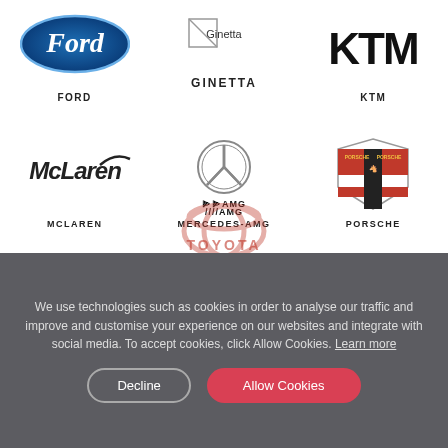[Figure (logo): Ford oval blue logo]
[Figure (logo): Ginetta logo (broken image icon with text GINETTA)]
[Figure (logo): KTM bold angular text logo]
FORD
GINETTA
KTM
[Figure (logo): McLaren italic script logo]
[Figure (logo): Mercedes-AMG three-pointed star with AMG text]
[Figure (logo): Porsche shield crest logo]
MCLAREN
MERCEDES-AMG
PORSCHE
We use technologies such as cookies in order to analyse our traffic and improve and customise your experience on our websites and integrate with social media. To accept cookies, click Allow Cookies. Learn more
Decline
Allow Cookies